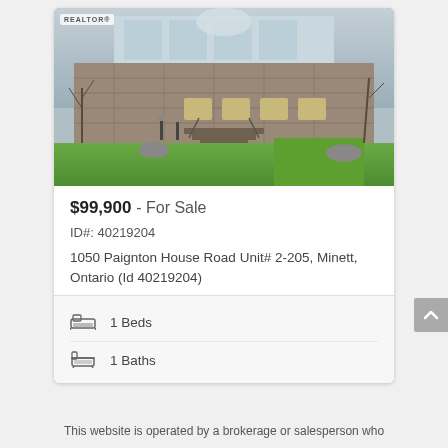[Figure (photo): Exterior photo of a stone building/condominium complex with multiple stories, balconies, stairs, greenery and overcast sky. REALTOR badge visible top-left.]
$99,900 - For Sale
ID#: 40219204
1050 Paignton House Road Unit# 2-205, Minett, Ontario (Id 40219204)
1 Beds
1 Baths
This website is operated by a brokerage or salesperson who